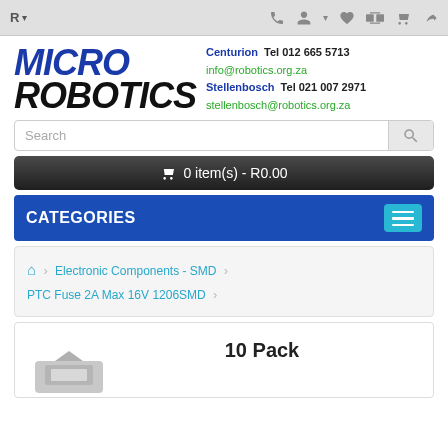R ▾  [phone icon] [user icon] [heart icon] [compare icon] [cart icon] [share icon]
[Figure (logo): Micro Robotics logo — MICRO in bold italic blue, ROBOTICS in bold italic black]
Centurion  Tel 012 665 5713
info@robotics.org.za
Stellenbosch  Tel 021 007 2971
stellenbosch@robotics.org.za
Search
🛒 0 item(s) - R0.00
CATEGORIES
🏠 > Electronic Components - SMD > PTC Fuse 2A Max 16V 1206SMD
10 Pack